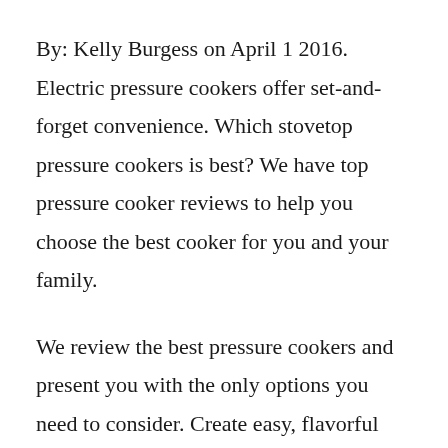By: Kelly Burgess on April 1 2016. Electric pressure cookers offer set-and-forget convenience. Which stovetop pressure cookers is best? We have top pressure cooker reviews to help you choose the best cooker for you and your family.
We review the best pressure cookers and present you with the only options you need to consider. Create easy, flavorful recipes with our recommendations. Electric pressure cookers are super-fast, convenient and save the food nutrients.